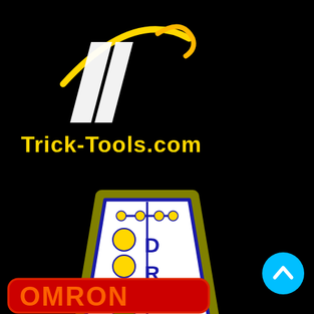[Figure (logo): Trick-Tools.com logo with white parallelogram shape and yellow swoosh/arc on black background]
Trick-Tools.com
[Figure (logo): DRAW drag racing Christmas tree starting light logo - trapezoid shape with white background, blue border outline, yellow glow, showing colored bulbs: yellow circles on left side and letters D, R, A, W on right side, with green and red bulbs at bottom]
[Figure (logo): Partial logo at bottom - red rounded rectangle with orange/red stylized text, partially cut off]